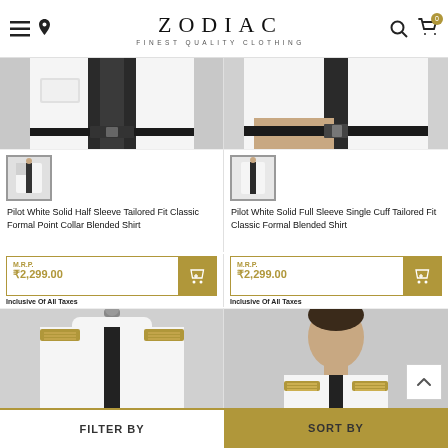ZODIAC — FINEST QUALITY CLOTHING
[Figure (photo): Pilot white shirt product photo top portion - left product]
[Figure (photo): Pilot white shirt product photo top portion - right product]
[Figure (photo): Thumbnail of pilot white half sleeve shirt]
[Figure (photo): Thumbnail of pilot white full sleeve shirt]
Pilot White Solid Half Sleeve Tailored Fit Classic Formal Point Collar Blended Shirt
Pilot White Solid Full Sleeve Single Cuff Tailored Fit Classic Formal Blended Shirt
M.R.P. ₹2,299.00 Inclusive Of All Taxes
M.R.P. ₹2,299.00 Inclusive Of All Taxes
[Figure (photo): Pilot shirt on mannequin with gold epaulettes - bottom left]
[Figure (photo): Male model wearing pilot shirt with gold epaulettes - bottom right]
FILTER BY  |  SORT BY